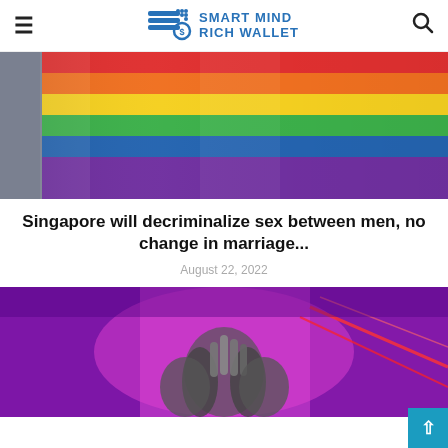Smart Mind Rich Wallet
[Figure (photo): Rainbow pride flag waving, with colorful stripes: red, orange, yellow, green, blue, purple, photographed against a light background.]
Singapore will decriminalize sex between men, no change in marriage...
August 22, 2022
[Figure (photo): Close-up of hands in a purple/magenta-lit scene with red laser light streaks in the background.]